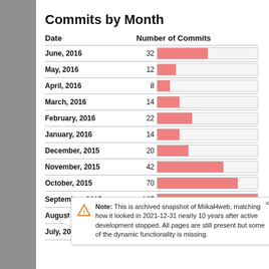Commits by Month
[Figure (bar-chart): Commits by Month]
Note: This is archived snapshot of MiikaHweb, matching how it looked in 2021-12-31 nearly 10 years after active development stopped. All pages are still present but some of the dynamic functionality is missing.